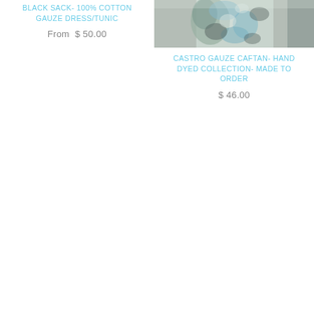BLACK SACK- 100% COTTON GAUZE DRESS/TUNIC
From $ 50.00
[Figure (photo): Tie-dye clothing item, blue/grey tones, partial view of garment hanging]
CASTRO GAUZE CAFTAN- HAND DYED COLLECTION- MADE TO ORDER
$ 46.00